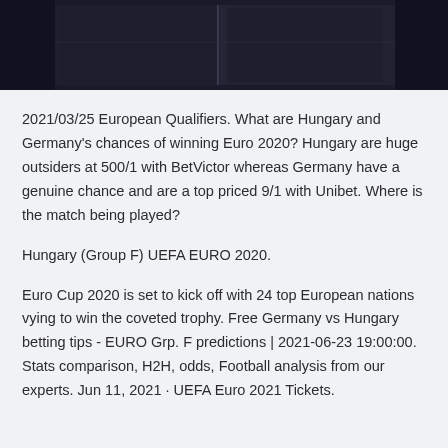[Figure (photo): Dark image at the top of the page, appears to be stadium or interior architectural photo with dark tones]
2021/03/25 European Qualifiers. What are Hungary and Germany's chances of winning Euro 2020? Hungary are huge outsiders at 500/1 with BetVictor whereas Germany have a genuine chance and are a top priced 9/1 with Unibet. Where is the match being played?
Hungary (Group F) UEFA EURO 2020.
Euro Cup 2020 is set to kick off with 24 top European nations vying to win the coveted trophy. Free Germany vs Hungary betting tips - EURO Grp. F predictions | 2021-06-23 19:00:00. Stats comparison, H2H, odds, Football analysis from our experts. Jun 11, 2021 · UEFA Euro 2021 Tickets.